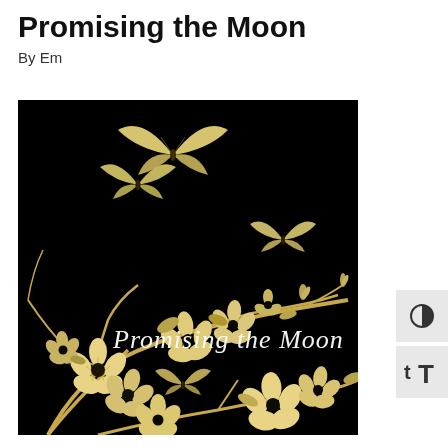Promising the Moon
By Em
[Figure (illustration): Book cover image with black background featuring gold cherry blossom branches with flowers and buds, multiple gold butterflies, and cursive white/silver text reading 'Promising the Moon']
[Figure (other): UI control buttons: contrast toggle (half-circle icon) and text size increase (tT icon), shown as grey square buttons on the right side]